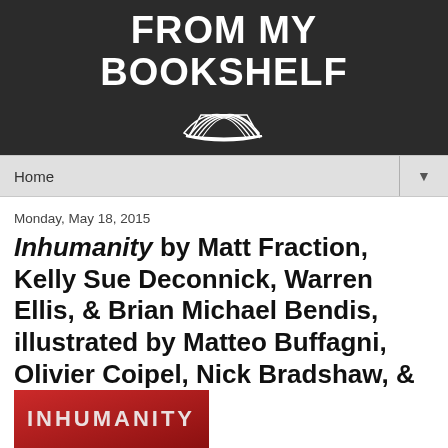FROM MY BOOKSHELF
Monday, May 18, 2015
Inhumanity by Matt Fraction, Kelly Sue Deconnick, Warren Ellis, & Brian Michael Bendis, illustrated by Matteo Buffagni, Olivier Coipel, Nick Bradshaw, & Kris Anka
[Figure (photo): Book cover of Inhumanity with red background and stylized text reading INHUMANITY]